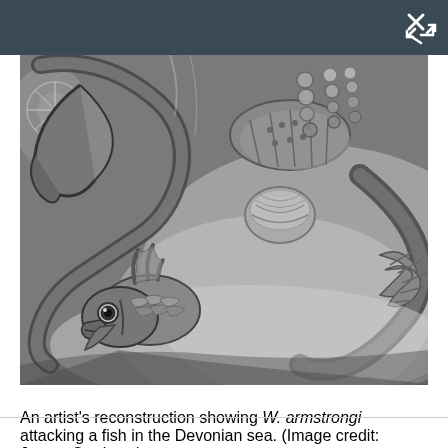[Figure (illustration): A detailed pencil/graphite artist's reconstruction showing W. armstrongi, a large eurypterid (sea scorpion), attacking a spiny fish in the Devonian sea. The illustration is in black and white with fine shading. The eurypterid's large claws and segmented body are visible in the upper portion, while a small spiny fish faces the viewer in the lower left. Various sea creatures and textures fill the background.]
An artist's reconstruction showing W. armstrongi attacking a fish in the Devonian sea. (Image credit: James Ormiston)